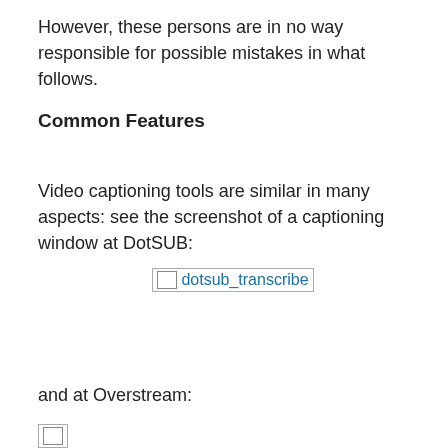However, these persons are in no way responsible for possible mistakes in what follows.
Common Features
Video captioning tools are similar in many aspects: see the screenshot of a captioning window at DotSUB:
[Figure (screenshot): Broken image placeholder for dotsub_transcribe screenshot]
and at Overstream:
[Figure (screenshot): Broken image placeholder for Overstream screenshot (partially visible)]